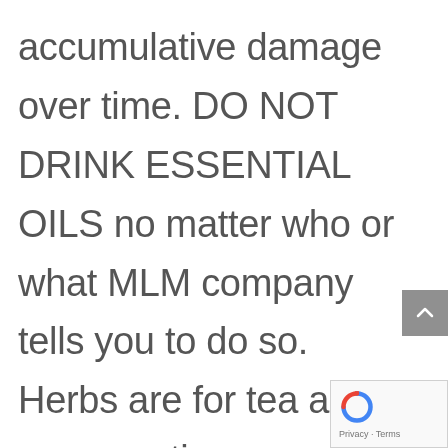accumulative damage over time. DO NOT DRINK ESSENTIAL OILS no matter who or what MLM company tells you to do so. Herbs are for tea and consumption,